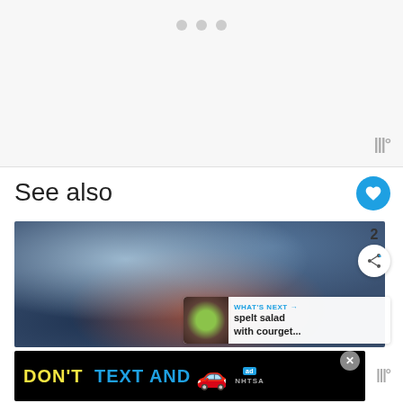[Figure (screenshot): Top gray section with three dots (loading indicator) and wordmark logo in bottom right]
See also
[Figure (photo): Food photo showing a salad with carrot strips and vegetables in a dark bowl on a table setting]
2
WHAT'S NEXT → spelt salad with courget...
[Figure (screenshot): Advertisement banner: DON'T TEXT AND [car emoji] with ad badge and NHTSA logo. Close button (×).]